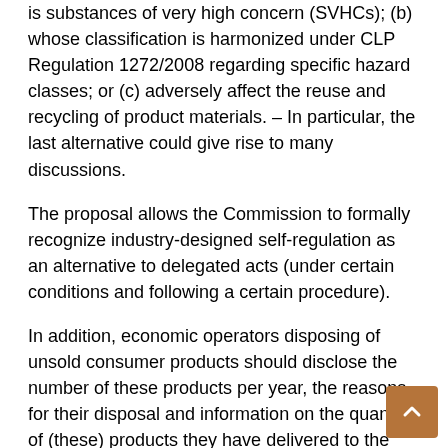is substances of very high concern (SVHCs); (b) whose classification is harmonized under CLP Regulation 1272/2008 regarding specific hazard classes; or (c) adversely affect the reuse and recycling of product materials. – In particular, the last alternative could give rise to many discussions.
The proposal allows the Commission to formally recognize industry-designed self-regulation as an alternative to delegated acts (under certain conditions and following a certain procedure).
In addition, economic operators disposing of unsold consumer products should disclose the number of these products per year, the reasons for their disposal and information on the quantity of (these) products they have delivered to the preparation for reuse, remanufacturing, recycling, energy recovery and disposal. The proposal itself would not outright ban this practice. On the contrary, it would empower the Commission to prohibit the destruction of certain unsold products by means of delegated acts. Small and medium-sized enterprises (SMEs,